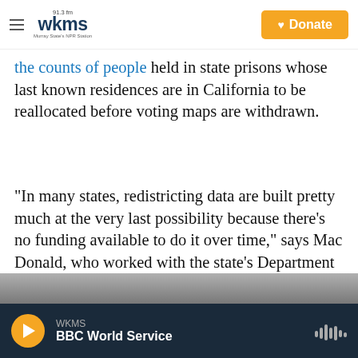WKMS 91.3 FM — Murray State's NPR Station | Donate
the counts of people held in state prisons whose last known residences are in California to be reallocated before voting maps are withdrawn.
"In many states, redistricting data are built pretty much at the very last possibility because there's no funding available to do it over time," says Mac Donald, who worked with the state's Department of Corrections and Rehabilitation to obtain records. "For us, we knew this was coming."
[Figure (photo): Bottom edge of a photo visible at the bottom of the article]
WKMS — BBC World Service (audio player bar)